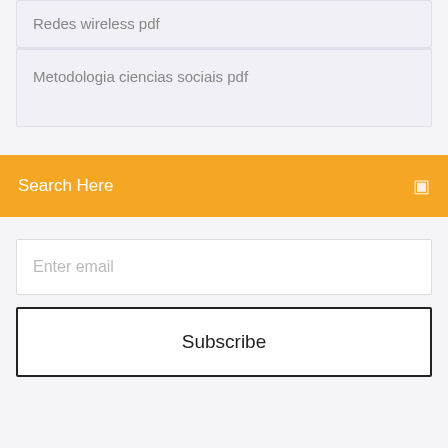Redes wireless pdf
Metodologia ciencias sociais pdf
Search Here
Enter email
Subscribe